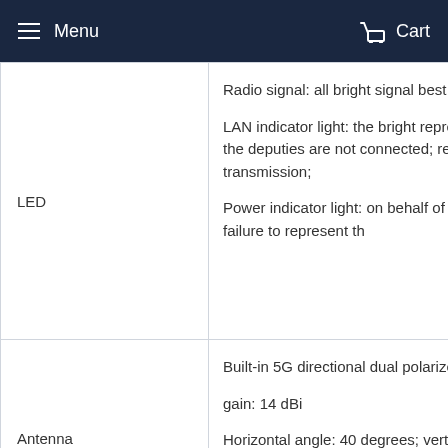Menu  Cart
| Feature | Description |
| --- | --- |
| LED | Radio signal: all bright signal best

LAN indicator light: the bright represents connection; the deputies are not connected; represents the data transmission;

Power indicator light: on behalf of the electricity; the failure to represent th |
| Antenna | Built-in 5G directional dual polarized

gain: 14 dBi

Horizontal angle: 40 degrees; vertica |
| Power Consumption | <7W |